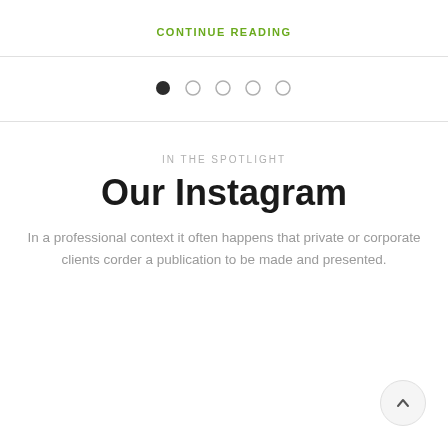CONTINUE READING
[Figure (other): Pagination dots: one filled dark circle followed by four empty circles]
IN THE SPOTLIGHT
Our Instagram
In a professional context it often happens that private or corporate clients corder a publication to be made and presented.